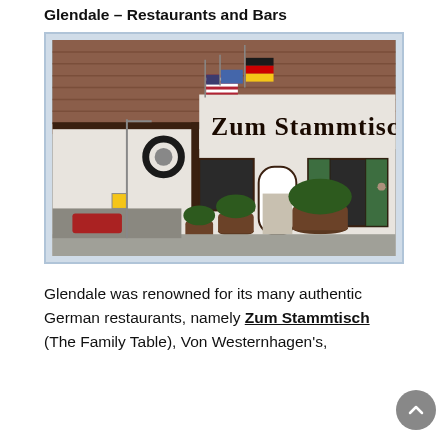Glendale – Restaurants and Bars
[Figure (photo): Exterior photo of Zum Stammtisch restaurant in Glendale, showing a white stucco building with Gothic lettering reading 'Zum Stammtisch', green shutters, American and German flags, barrel planters with shrubs, and a white arched doorway.]
Glendale was renowned for its many authentic German restaurants, namely Zum Stammtisch (The Family Table), Von Westernhagen's,